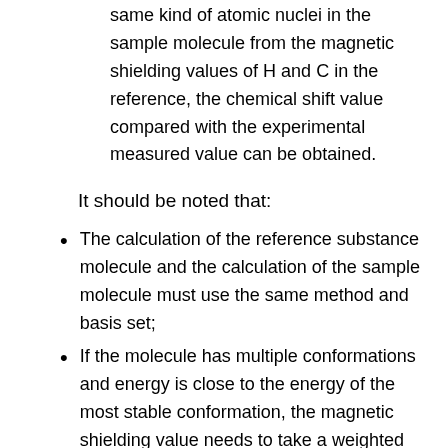same kind of atomic nuclei in the sample molecule from the magnetic shielding values of H and C in the reference, the chemical shift value compared with the experimental measured value can be obtained.
It should be noted that:
The calculation of the reference substance molecule and the calculation of the sample molecule must use the same method and basis set;
If the molecule has multiple conformations and energy is close to the energy of the most stable conformation, the magnetic shielding value needs to take a weighted average.